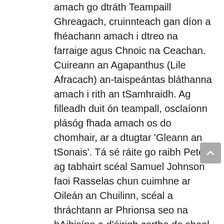amach go dtráth Teampaill Ghreagach, cruinnteach gan díon a fhéachann amach i dtreo na farraige agus Chnoic na Ceachan. Cuireann an Agapanthus (Lile Afracach) an-taispeántas bláthanna amach i rith an tSamhraidh. Ag filleadh duit ón teampall, osclaíonn plásóg fhada amach os do chomhair, ar a dtugtar 'Gleann an tSonais'. Tá sé ráite go raibh Peto ag tabhairt scéal Samuel Johnson faoi Rasselas chun cuimhne ar Oileán an Chuilinn, scéal a thráchtann ar Phrionsa seo na hAibisíne a d'éirigh cortha de shaol éasca 'Ghleann an tSonais' agus a d'fhág ar thóir an chomhlíonta agus an fíorshásaimh, ag cur lena thuiscint ar an saol feadh na slí.
Tá bailiúchán fairsing de phlandaí ó gach aird den domhan i nGleann an tSonais. Ar thaobh na